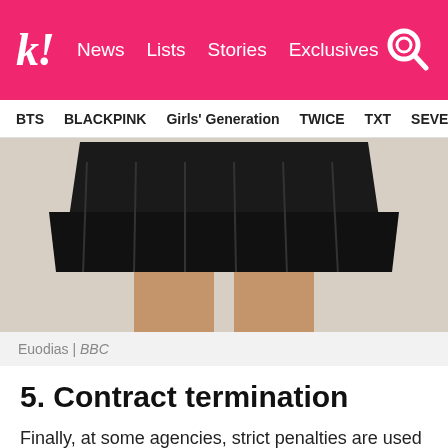k! News  Lists  Stories  Exclusives
BTS  BLACKPINK  Girls' Generation  TWICE  TXT  SEVE
[Figure (photo): Cropped photo of a person wearing a black pleated leather skirt, lower body only visible, against a light beige background]
Euodias | BBC
5. Contract termination
Finally, at some agencies, strict penalties are used to keep trainees from gaining weight—including the threat of contract termination. Last year, former FNC Entertainment trainee Cho